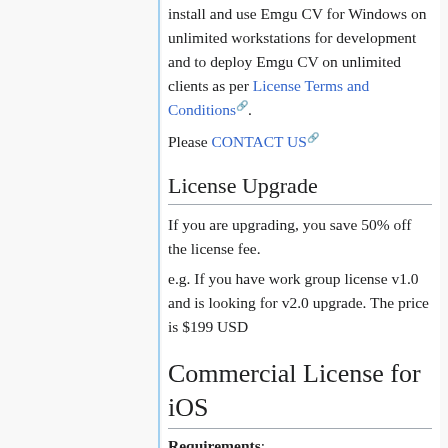install and use Emgu CV for Windows on unlimited workstations for development and to deploy Emgu CV on unlimited clients as per License Terms and Conditions.
Please CONTACT US
License Upgrade
If you are upgrading, you save 50% off the license fee.
e.g. If you have work group license v1.0 and is looking for v2.0 upgrade. The price is $199 USD
Commercial License for iOS
Requirements:
Mac OSX